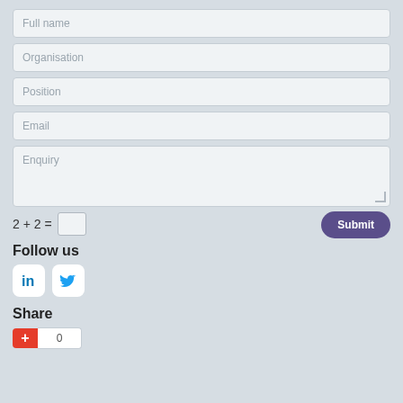Full name
Organisation
Position
Email
Enquiry
2 + 2 =
Submit
Follow us
[Figure (logo): LinkedIn and Twitter social media icons]
Share
[Figure (infographic): Red plus/share button with count 0]